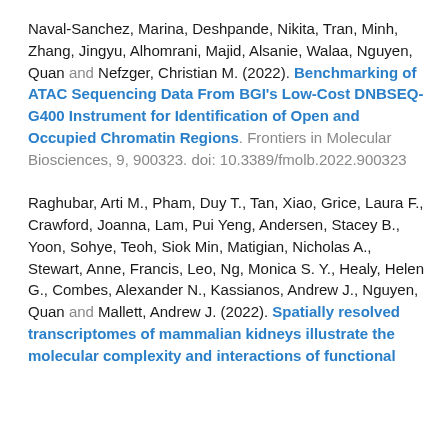Naval-Sanchez, Marina, Deshpande, Nikita, Tran, Minh, Zhang, Jingyu, Alhomrani, Majid, Alsanie, Walaa, Nguyen, Quan and Nefzger, Christian M. (2022). Benchmarking of ATAC Sequencing Data From BGI's Low-Cost DNBSEQ-G400 Instrument for Identification of Open and Occupied Chromatin Regions. Frontiers in Molecular Biosciences, 9, 900323. doi: 10.3389/fmolb.2022.900323
Raghubar, Arti M., Pham, Duy T., Tan, Xiao, Grice, Laura F., Crawford, Joanna, Lam, Pui Yeng, Andersen, Stacey B., Yoon, Sohye, Teoh, Siok Min, Matigian, Nicholas A., Stewart, Anne, Francis, Leo, Ng, Monica S. Y., Healy, Helen G., Combes, Alexander N., Kassianos, Andrew J., Nguyen, Quan and Mallett, Andrew J. (2022). Spatially resolved transcriptomes of mammalian kidneys illustrate the molecular complexity and interactions of functional